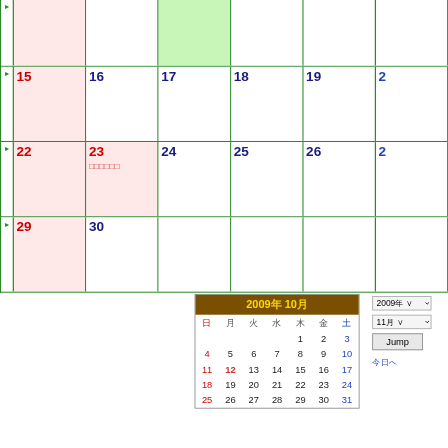[Figure (screenshot): Calendar grid showing weeks with dates 15-20, 22-27, 29-30, weekend days highlighted in pink, with week navigation arrows on left. Some cells have pink/green background. Date 23 has Japanese event text.]
[Figure (screenshot): Mini calendar for October 2009 with brown header showing '2009年10月' in gold, days of week row, dates 1-31. Sundays in red, Saturdays in blue. Below right: year dropdown '2009年', month dropdown '11月', Jump button, and Japanese today link.]